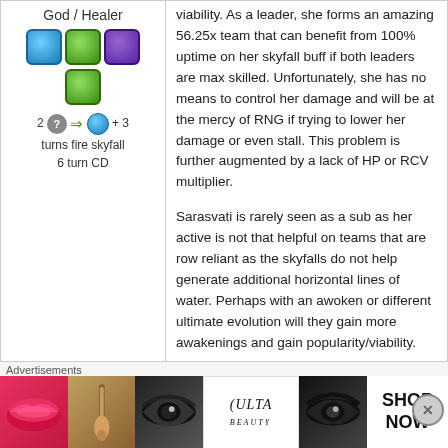God / Healer
[Figure (illustration): Row of three colored orb icons (water, green, dark) and one green orb centered below]
2 [?] => [water] + 3 turns fire skyfall 6 turn CD
viability. As a leader, she forms an amazing 56.25x team that can benefit from 100% uptime on her skyfall buff if both leaders are max skilled. Unfortunately, she has no means to control her damage and will be at the mercy of RNG if trying to lower her damage or even stall. This problem is further augmented by a lack of HP or RCV multiplier.
Sarasvati is rarely seen as a sub as her active is not that helpful on teams that are row reliant as the skyfalls do not help generate additional horizontal lines of water. Perhaps with an awoken or different ultimate evolution will they gain more awakenings and gain popularity/viability.
Vishnu
[Figure (illustration): Vishnu character icon - colorful game avatar]
Vishnu breaks the trend of mediocrity for the Indian 2 pantheon as he has 7 awakenings and
Advertisements
[Figure (photo): Advertisement banner for ULTA beauty products showing lips, makeup brush, eyes, ULTA logo, eyes, and SHOP NOW text]